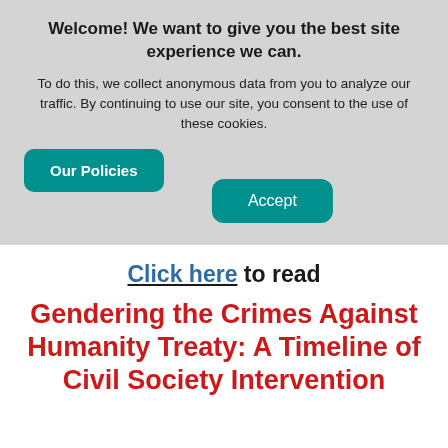Welcome! We want to give you the best site experience we can.
To do this, we collect anonymous data from you to analyze our traffic. By continuing to use our site, you consent to the use of these cookies.
[Figure (screenshot): Cookie consent banner with 'Our Policies' and 'Accept' buttons on a grey background]
Click here to read
Gendering the Crimes Against Humanity Treaty: A Timeline of Civil Society Intervention